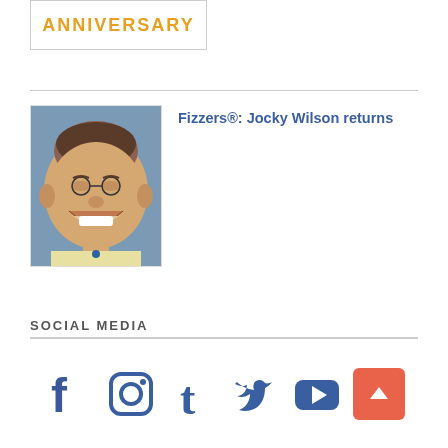[Figure (illustration): Anniversary logo/banner with text ANNIVERSARY in orange bold letters inside a bordered box]
[Figure (photo): Caricature illustration of a heavy-set smiling man with glasses, wearing a yellow shirt with a blue pendant, against a blue/grey background]
Fizzers®: Jocky Wilson returns
SOCIAL MEDIA
[Figure (infographic): Row of social media icons: Facebook, Instagram, Tumblr, Twitter, YouTube, and a back-to-top button]